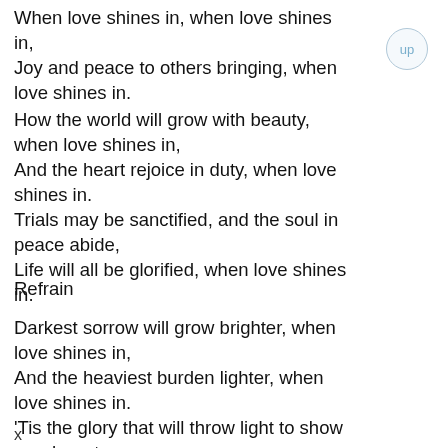When love shines in, when love shines in,
Joy and peace to others bringing, when love shines in.
How the world will grow with beauty, when love shines in,
And the heart rejoice in duty, when love shines in.
Trials may be sanctified, and the soul in peace abide,
Life will all be glorified, when love shines in.
Refrain
Darkest sorrow will grow brighter, when love shines in,
And the heaviest burden lighter, when love shines in.
'Tis the glory that will throw light to show us where to go;
So the heart shall all be singing,
x